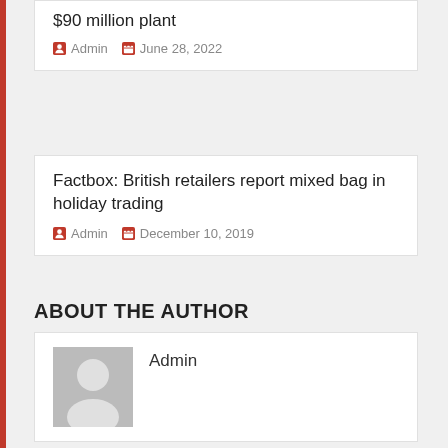$90 million plant
Admin  June 28, 2022
Factbox: British retailers report mixed bag in holiday trading
Admin  December 10, 2019
ABOUT THE AUTHOR
Admin